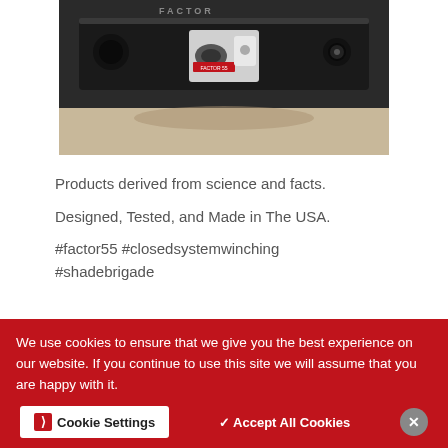[Figure (photo): Close-up photo of a vehicle bumper with a Factor 55 winch hook attachment, silver/white device mounted on a dark metal bumper, outdoors on gravel]
Products derived from science and facts.
Designed, Tested, and Made in The USA.
#factor55 #closedsystemwinching
#shadebrigade
We use cookies to ensure that we give you the best experience on our website. If you continue to use this site we will assume that you are happy with it.